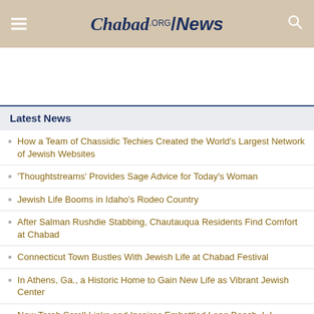Chabad.org/News
Latest News
How a Team of Chassidic Techies Created the World's Largest Network of Jewish Websites
'Thoughtstreams' Provides Sage Advice for Today's Woman
Jewish Life Booms in Idaho's Rodeo Country
After Salman Rushdie Stabbing, Chautauqua Residents Find Comfort at Chabad
Connecticut Town Bustles With Jewish Life at Chabad Festival
In Athens, Ga., a Historic Home to Gain New Life as Vibrant Jewish Center
New Torah Scroll Links and Inspires Embattled Long Beach, L.I., Jewish Community
Replica of Baal Shem Tov's Ukraine Synagogue Rises in Upstate New York
Eight Wounded as Terrorist Gunman Attacks Bus Near Western Wall